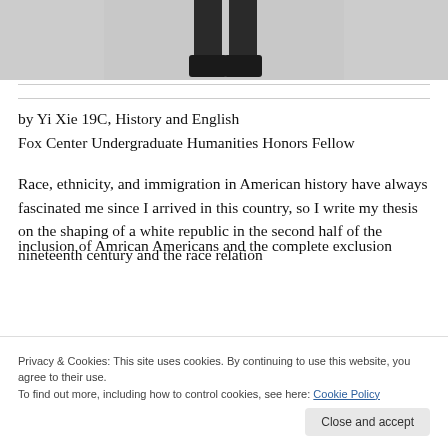[Figure (photo): Partial photo showing legs/feet of a person standing, lower portion of body visible against a light background]
by Yi Xie 19C, History and English
Fox Center Undergraduate Humanities Honors Fellow
Race, ethnicity, and immigration in American history have always fascinated me since I arrived in this country, so I write my thesis on the shaping of a white republic in the second half of the nineteenth century and the race relation
inclusion of Amrican Americans and the complete exclusion
Privacy & Cookies: This site uses cookies. By continuing to use this website, you agree to their use.
To find out more, including how to control cookies, see here: Cookie Policy